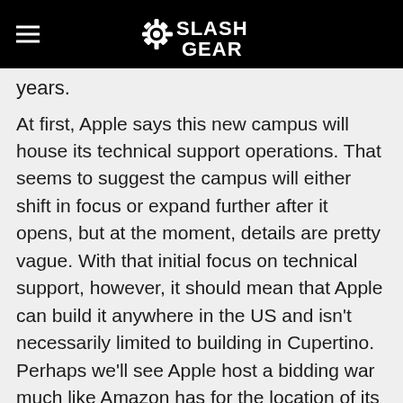SlashGear
years.
At first, Apple says this new campus will house its technical support operations. That seems to suggest the campus will either shift in focus or expand further after it opens, but at the moment, details are pretty vague. With that initial focus on technical support, however, it should mean that Apple can build it anywhere in the US and isn't necessarily limited to building in Cupertino. Perhaps we'll see Apple host a bidding war much like Amazon has for the location of its new headquarters?